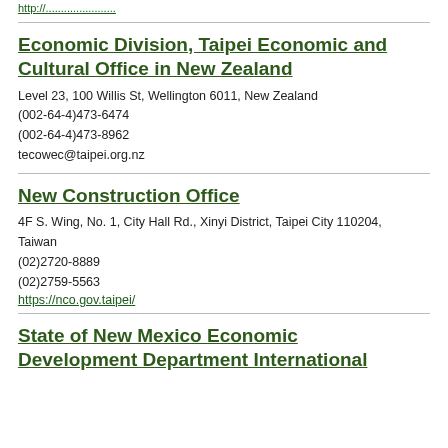http://.....................
Economic Division, Taipei Economic and Cultural Office in New Zealand
Level 23, 100 Willis St, Wellington 6011, New Zealand
(002-64-4)473-6474
(002-64-4)473-8962
tecowec@taipei.org.nz
New Construction Office
4F S. Wing, No. 1, City Hall Rd., Xinyi District, Taipei City 110204, Taiwan
(02)2720-8889
(02)2759-5563
https://nco.gov.taipei/
State of New Mexico Economic Development Department International